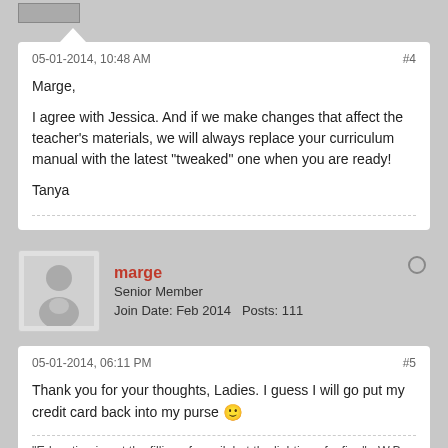05-01-2014, 10:48 AM   #4
Marge,

I agree with Jessica. And if we make changes that affect the teacher's materials, we will always replace your curriculum manual with the latest "tweaked" one when you are ready!

Tanya
marge
Senior Member
Join Date: Feb 2014   Posts: 111
05-01-2014, 06:11 PM   #5
Thank you for your thoughts, Ladies. I guess I will go put my credit card back into my purse 😊
"Education is not the filling of a pail, but the lighting of a fire." - W.B. Yeats